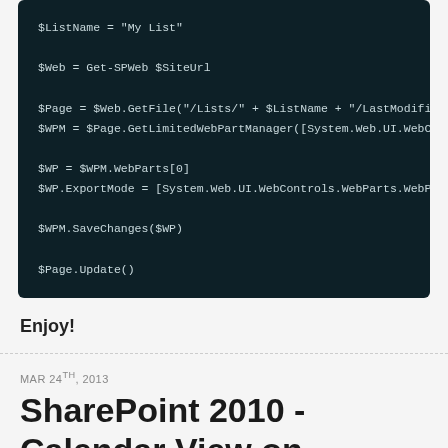[Figure (screenshot): Dark-themed code block showing PowerShell script with commands: $ListName, $Web, $Page, $WPM, $WP, $WP.ExportMode, $WPM.SaveChanges, $Page.Update()]
Enjoy!
MAR 24TH, 2013
SharePoint 2010 - Calendar View on XSLTListViewWebPart